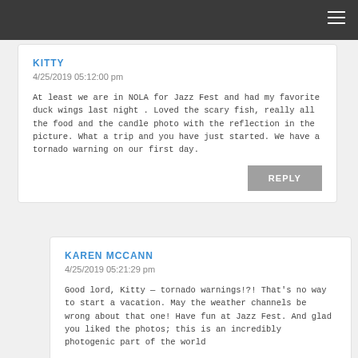KITTY
4/25/2019 05:12:00 pm
At least we are in NOLA for Jazz Fest and had my favorite duck wings last night . Loved the scary fish, really all the food and the candle photo with the reflection in the picture. What a trip and you have just started. We have a tornado warning on our first day.
REPLY
KAREN MCCANN
4/25/2019 05:21:29 pm
Good lord, Kitty — tornado warnings!?! That's no way to start a vacation. May the weather channels be wrong about that one! Have fun at Jazz Fest. And glad you liked the photos; this is an incredibly photogenic part of the world